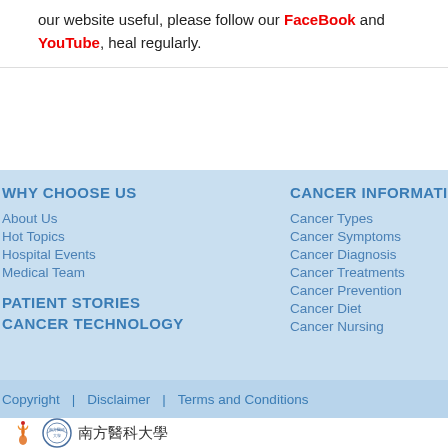our website useful, please follow our FaceBook and YouTube, heal regularly.
WHY CHOOSE US
About Us
Hot Topics
Hospital Events
Medical Team
PATIENT STORIES
CANCER TECHNOLOGY
CANCER INFORMATION
Cancer Types
Cancer Symptoms
Cancer Diagnosis
Cancer Treatments
Cancer Prevention
Cancer Diet
Cancer Nursing
Copyright | Disclaimer | Terms and Conditions
[Figure (logo): Flame logo and university circle seal with Chinese characters 南方醫科大學]